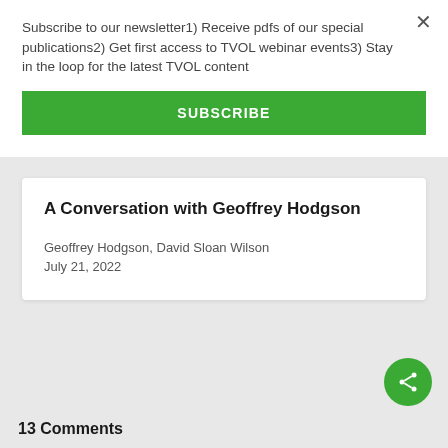Subscribe to our newsletter1) Receive pdfs of our special publications2) Get first access to TVOL webinar events3) Stay in the loop for the latest TVOL content
SUBSCRIBE
A Conversation with Geoffrey Hodgson
Geoffrey Hodgson, David Sloan Wilson
July 21, 2022
13 Comments